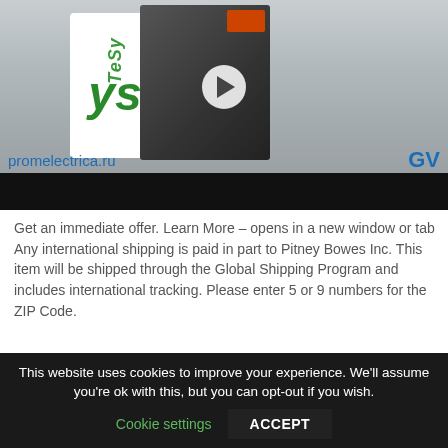[Figure (screenshot): Video thumbnail showing electrical components (TeSys motor circuit breaker/GV series) with a play button overlay. URL 'promelectrica.ru' and 'GV' text visible. Black bar at bottom of video player.]
Get an immediate offer. Learn More – opens in a new window or tab Any international shipping is paid in part to Pitney Bowes Inc. This item will be shipped through the Global Shipping Program and includes international tracking. Please enter 5 or 9 numbers for the ZIP Code.
This website uses cookies to improve your experience. We'll assume you're ok with this, but you can opt-out if you wish. Cookie settings ACCEPT